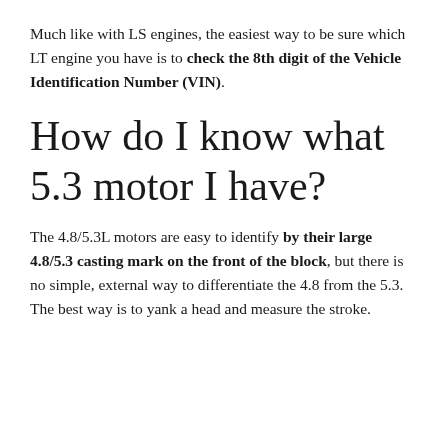Much like with LS engines, the easiest way to be sure which LT engine you have is to check the 8th digit of the Vehicle Identification Number (VIN).
How do I know what 5.3 motor I have?
The 4.8/5.3L motors are easy to identify by their large 4.8/5.3 casting mark on the front of the block, but there is no simple, external way to differentiate the 4.8 from the 5.3. The best way is to yank a head and measure the stroke.